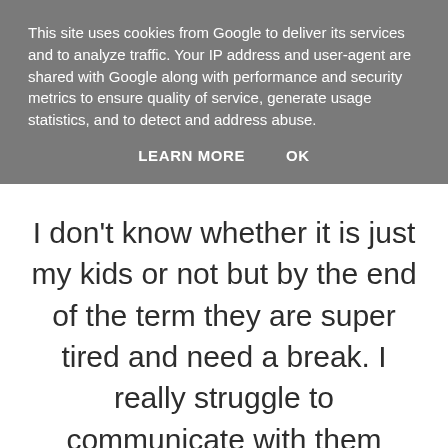This site uses cookies from Google to deliver its services and to analyze traffic. Your IP address and user-agent are shared with Google along with performance and security metrics to ensure quality of service, generate usage statistics, and to detect and address abuse.
LEARN MORE    OK
I don't know whether it is just my kids or not but by the end of the term they are super tired and need a break. I really struggle to communicate with them when they go full meltdown and I did walk out the home as I just couldn't cope.